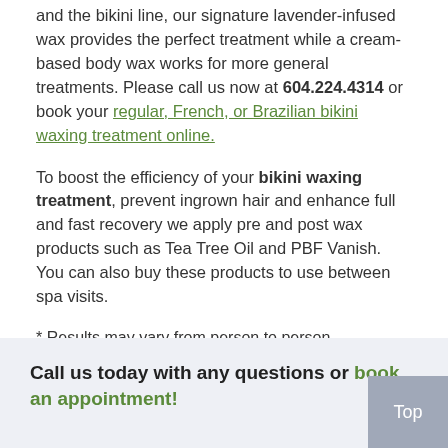and the bikini line, our signature lavender-infused wax provides the perfect treatment while a cream-based body wax works for more general treatments. Please call us now at 604.224.4314 or book your regular, French, or Brazilian bikini waxing treatment online.
To boost the efficiency of your bikini waxing treatment, prevent ingrown hair and enhance full and fast recovery we apply pre and post wax products such as Tea Tree Oil and PBF Vanish. You can also buy these products to use between spa visits.
* Results may vary from person to person
Call us today with any questions or book an appointment!